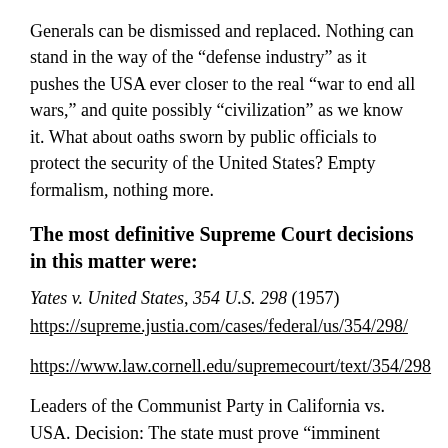Generals can be dismissed and replaced. Nothing can stand in the way of the “defense industry” as it pushes the USA ever closer to the real “war to end all wars,” and quite possibly “civilization” as we know it. What about oaths sworn by public officials to protect the security of the United States? Empty formalism, nothing more.
The most definitive Supreme Court decisions in this matter were:
Yates v. United States, 354 U.S. 298 (1957)
https://supreme.justia.com/cases/federal/us/354/298/
https://www.law.cornell.edu/supremecourt/text/354/298
Leaders of the Communist Party in California vs. USA. Decision: The state must prove “imminent threat” to